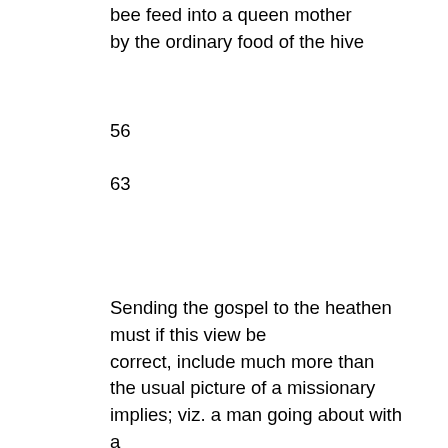bee feed into a queen mother by the ordinary food of the hive
56
63
Sending the gospel to the heathen must if this view be correct, include much more than the usual picture of a missionary implies; viz. a man going about with a bible under his arm. The promotion